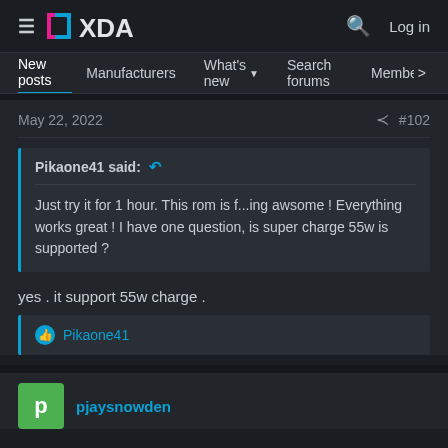XDA Forums — Log in
New posts  Manufacturers  What's new  Search forums  Members  >
May 22, 2022  #102
Pikaone41 said:
Just try it for 1 hour. This rom is f...ing awsome ! Everything works great ! I have one question, is super charge 55w is supported ?
yes . it support 55w charge .
Pikaone41
pjaysnowden